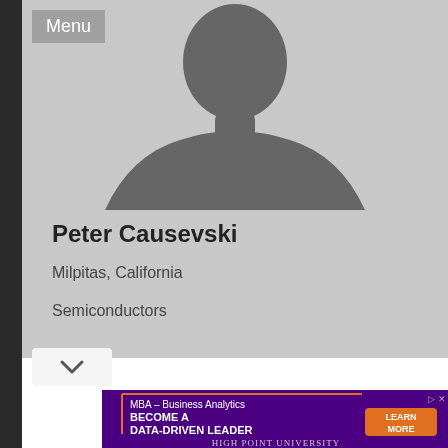Menu
[Figure (illustration): Anonymous user silhouette placeholder profile image - grey torso and head shape on grey background]
Peter Causevski
Milpitas, California
Semiconductors
[Figure (infographic): Advertisement for High Point University MBA Business Analytics program. Text reads: MBA – Business Analytics, BECOME A DATA-DRIVEN LEADER, with LEARN MORE button, HIGH POINT UNIVERSITY]